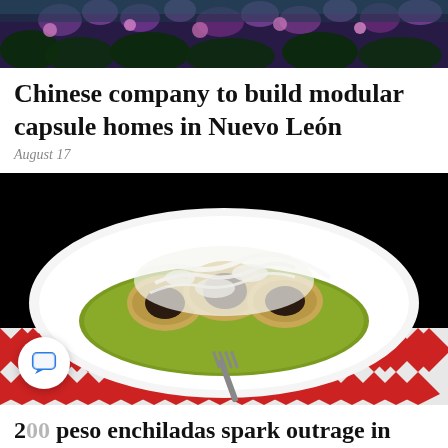[Figure (photo): Top portion of an outdoor scene with purple flowers and dark foliage]
Chinese company to build modular capsule homes in Nuevo León
August 17
[Figure (photo): Green enchiladas covered in cream and cheese on a white oval plate, sitting on a red-and-white checkered tablecloth, with a fork visible at bottom]
200 peso enchiladas spark outrage in Michoacán